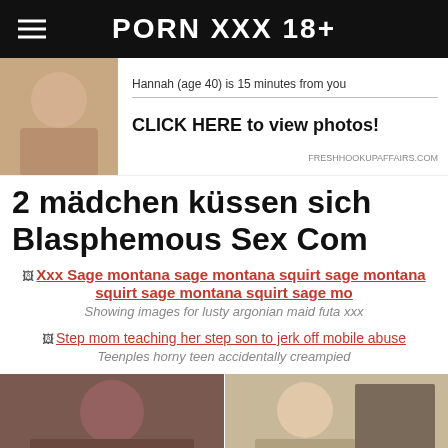PORN XXX 18+
[Figure (photo): Advertisement banner with photo of woman and text: Hannah (age 40) is 15 minutes from you. CLICK HERE to view photos! freshhookupaffairs.com]
2 mädchen küssen sich Blasphemous Sex Com
Xxx Sage montana sage montana squirt sage montana squirt sage montana squirt sage mo
Showing images for lusty argonian maid futa xxx
Step mom teaching her step son to jerk off mobile abuse
Teenples horny teen accidentally creampied
[Figure (photo): Two side-by-side adult content thumbnail images]